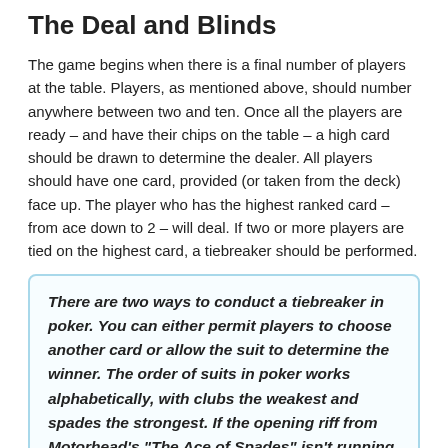The Deal and Blinds
The game begins when there is a final number of players at the table. Players, as mentioned above, should number anywhere between two and ten. Once all the players are ready – and have their chips on the table – a high card should be drawn to determine the dealer. All players should have one card, provided (or taken from the deck) face up. The player who has the highest ranked card – from ace down to 2 – will deal. If two or more players are tied on the highest card, a tiebreaker should be performed.
There are two ways to conduct a tiebreaker in poker. You can either permit players to choose another card or allow the suit to determine the winner. The order of suits in poker works alphabetically, with clubs the weakest and spades the strongest. If the opening riff from Motorhead's "The Ace of Spades" isn't running through your mind right now, then it will be by the end of this sentence...
In casinos (or the man caves of those who mean business), a button is typically assigned to the dealer. This button is usually a white disk but can be anything, really. In the instance where you are